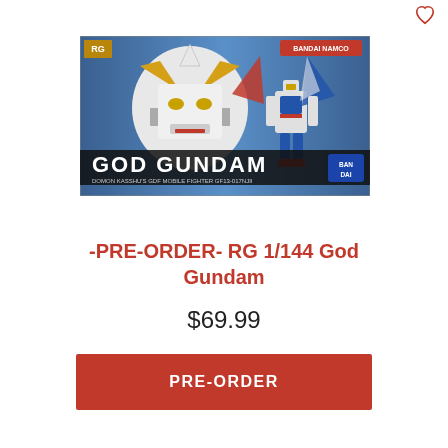[Figure (photo): Product box art for RG 1/144 God Gundam model kit by Bandai Namco, showing a close-up of the God Gundam robot head and full body pose on a blue background with text 'GOD GUNDAM' and Bandai logo.]
-PRE-ORDER- RG 1/144 God Gundam
$69.99
PRE-ORDER